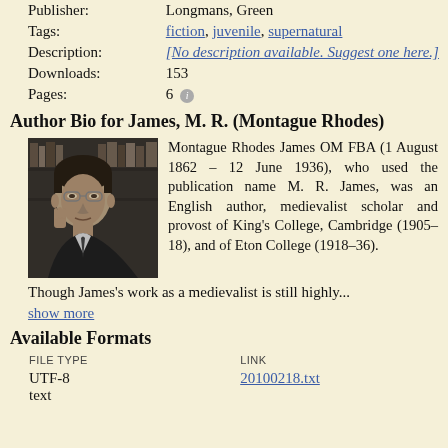| Field | Value |
| --- | --- |
| Publisher: | Longmans, Green |
| Tags: | fiction, juvenile, supernatural |
| Description: | [No description available. Suggest one here.] |
| Downloads: | 153 |
| Pages: | 6 |
Author Bio for James, M. R. (Montague Rhodes)
[Figure (photo): Black and white portrait photograph of Montague Rhodes James, sitting thoughtfully with hand near face.]
Montague Rhodes James OM FBA (1 August 1862 – 12 June 1936), who used the publication name M. R. James, was an English author, medievalist scholar and provost of King's College, Cambridge (1905–18), and of Eton College (1918–36).
Though James's work as a medievalist is still highly...
show more
Available Formats
| FILE TYPE | LINK |
| --- | --- |
| UTF-8 text | 20100218.txt |